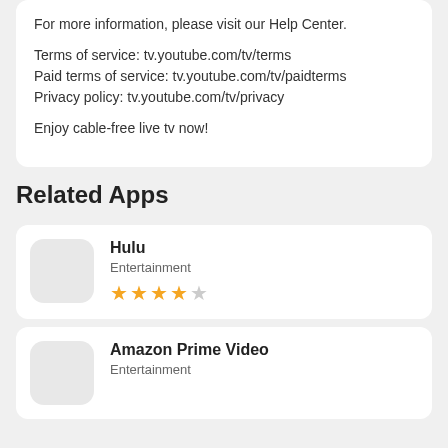For more information, please visit our Help Center.

Terms of service: tv.youtube.com/tv/terms
Paid terms of service: tv.youtube.com/tv/paidterms
Privacy policy: tv.youtube.com/tv/privacy

Enjoy cable-free live tv now!
Related Apps
Hulu
Entertainment
★★★★☆
Amazon Prime Video
Entertainment